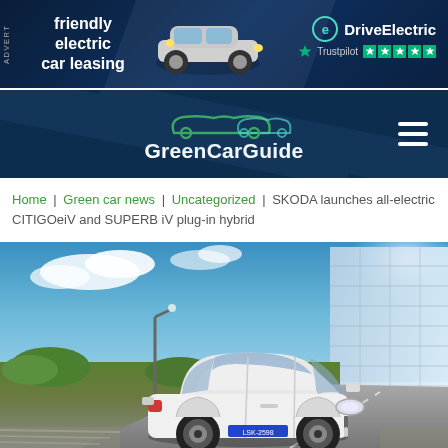[Figure (other): Advertisement banner for DriveElectric car leasing service showing a MINI Electric car on a dark blue background with Trustpilot 5-star rating]
[Figure (logo): GreenCarGuide website logo with green car outline silhouettes and white text on dark navy background, with hamburger menu icon on right]
Home | Green car news | Uncategorized | SKODA launches all-electric CITIGOeiV and SUPERB iV plug-in hybrid
[Figure (photo): White SKODA CITIGOe iV electric car driving on a road with blue sky, green grass, street lamp and modern glass building in background]